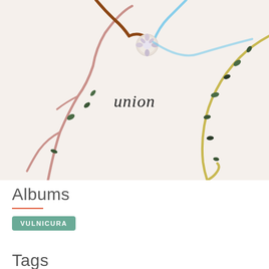[Figure (photo): Close-up photograph of embroidery on white fabric showing colorful thread branches with leaves and a small white flower button, with the word 'union' embroidered in black text in the center]
Albums
VULNICURA
Tags